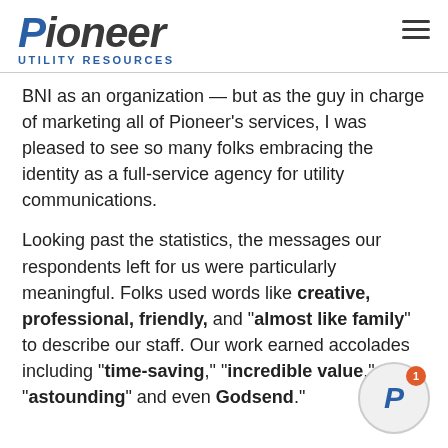Pioneer Utility Resources
BNI as an organization — but as the guy in charge of marketing all of Pioneer's services, I was pleased to see so many folks embracing the identity as a full-service agency for utility communications.
Looking past the statistics, the messages our respondents left for us were particularly meaningful. Folks used words like creative, professional, friendly, and "almost like family" to describe our staff. Our work earned accolades including "time-saving," "incredible value," "astounding" and even "Godsend."
[Figure (logo): Circular Pioneer logo badge with notification dot showing number 1]